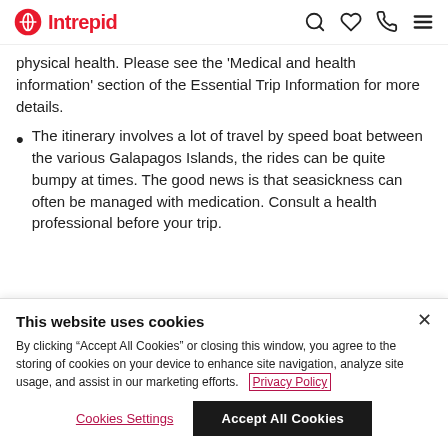Intrepid
physical health. Please see the 'Medical and health information' section of the Essential Trip Information for more details.
The itinerary involves a lot of travel by speed boat between the various Galapagos Islands, the rides can be quite bumpy at times. The good news is that seasickness can often be managed with medication. Consult a health professional before your trip.
This website uses cookies
By clicking "Accept All Cookies" or closing this window, you agree to the storing of cookies on your device to enhance site navigation, analyze site usage, and assist in our marketing efforts.   Privacy Policy